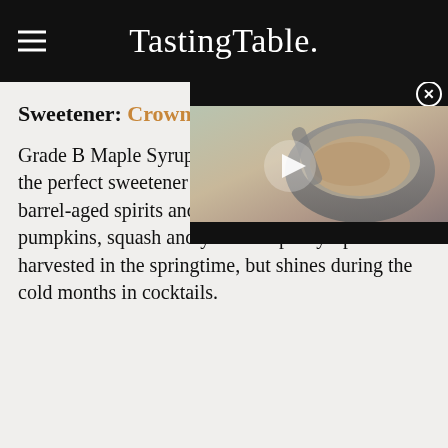Tasting Table.
Sweetener: Crown Maple
[Figure (other): Video thumbnail overlay showing a mixing bowl with food being mixed, with a play button in the center, black bars at top and bottom, and a close (X) button in the top-right corner]
Grade B Maple Syrups are bolder in flavor and are the perfect sweetener for cocktails prepared with barrel-aged spirits and fall produce such as pumpkins, squash and yams. Maple syrup is harvested in the springtime, but shines during the cold months in cocktails.